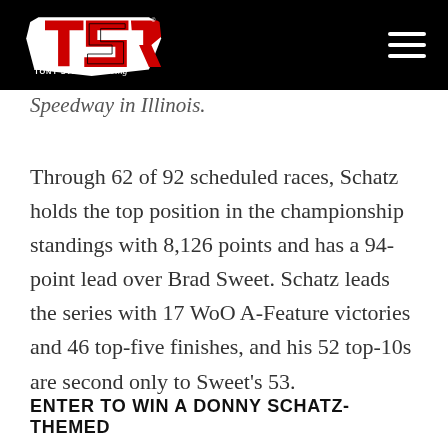[Figure (logo): Tony Stewart Racing logo — red and black TSR emblem with 'TONY STEWART Racing' text on black header bar with hamburger menu icon]
Speedway in Illinois.
Through 62 of 92 scheduled races, Schatz holds the top position in the championship standings with 8,126 points and has a 94-point lead over Brad Sweet. Schatz leads the series with 17 WoO A-Feature victories and 46 top-five finishes, and his 52 top-10s are second only to Sweet's 53.
ENTER TO WIN A DONNY SCHATZ-THEMED